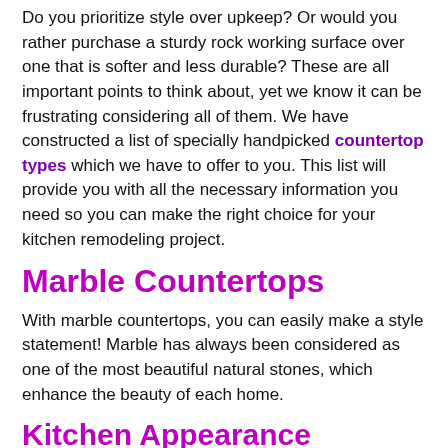Do you prioritize style over upkeep? Or would you rather purchase a sturdy rock working surface over one that is softer and less durable? These are all important points to think about, yet we know it can be frustrating considering all of them. We have constructed a list of specially handpicked countertop types which we have to offer to you. This list will provide you with all the necessary information you need so you can make the right choice for your kitchen remodeling project.
Marble Countertops
With marble countertops, you can easily make a style statement! Marble has always been considered as one of the most beautiful natural stones, which enhance the beauty of each home.
Kitchen Appearance